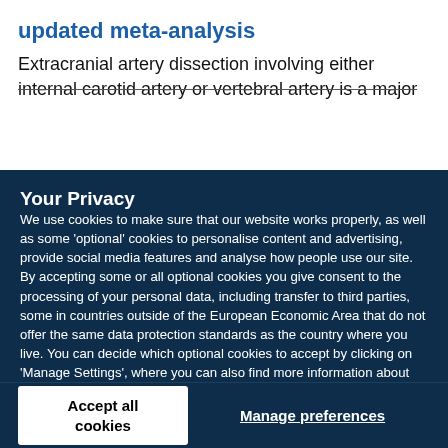updated meta-analysis
Extracranial artery dissection involving either internal carotid artery or vertebral artery is a major
Your Privacy
We use cookies to make sure that our website works properly, as well as some 'optional' cookies to personalise content and advertising, provide social media features and analyse how people use our site. By accepting some or all optional cookies you give consent to the processing of your personal data, including transfer to third parties, some in countries outside of the European Economic Area that do not offer the same data protection standards as the country where you live. You can decide which optional cookies to accept by clicking on 'Manage Settings', where you can also find more information about how your personal data is processed. Further information can be found in our privacy policy.
Accept all cookies
Manage preferences